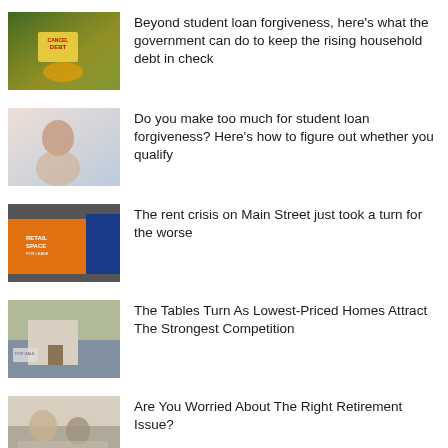Beyond student loan forgiveness, here’s what the government can do to keep the rising household debt in check
Do you make too much for student loan forgiveness? Here’s how to figure out whether you qualify
The rent crisis on Main Street just took a turn for the worse
The Tables Turn As Lowest-Priced Homes Attract The Strongest Competition
Are You Worried About The Right Retirement Issue?